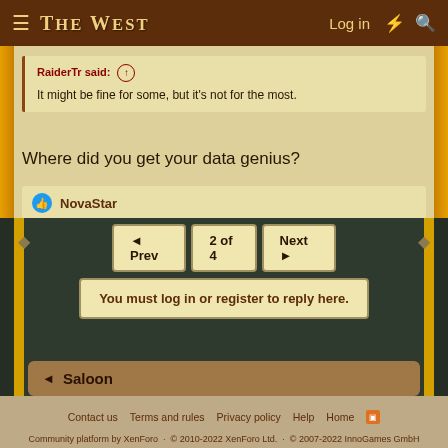The West — Log in
RaiderTr said: It might be fine for some, but it's not for the most.
Where did you get your data genius?
NovaStar
◄ Prev   2 of 4   Next ►
You must log in or register to reply here.
Saloon
Contact us   Terms and rules   Privacy policy   Help   Home   Community platform by XenForo  © 2010-2022 XenForo Ltd.  © 2007-2022 InnoGames GmbH